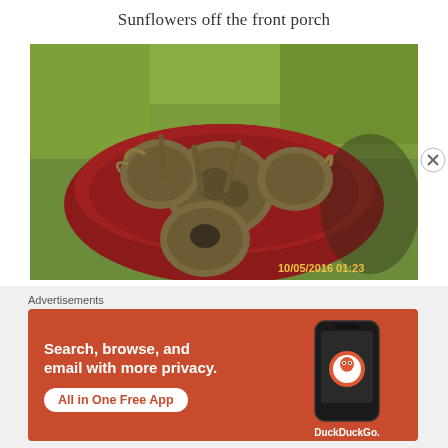Sunflowers off the front porch
[Figure (photo): Dried sunflower heads piled in a red wheelbarrow on green grass, with timestamp 10/05/2016 01:23 in bottom right corner]
Advertisements
[Figure (screenshot): DuckDuckGo advertisement banner: orange background with white text 'Search, browse, and email with more privacy.' and 'All in One Free App' button, with phone mockup and DuckDuckGo logo on the right]